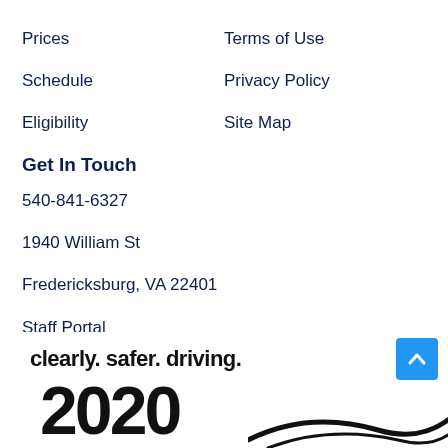Prices
Terms of Use
Schedule
Privacy Policy
Eligibility
Site Map
Get In Touch
540-841-6327
1940 William St
Fredericksburg, VA 22401
Staff Portal
[Figure (logo): clearly. safer. driving. logo with road graphic and year 2020, with blue scroll-to-top button]